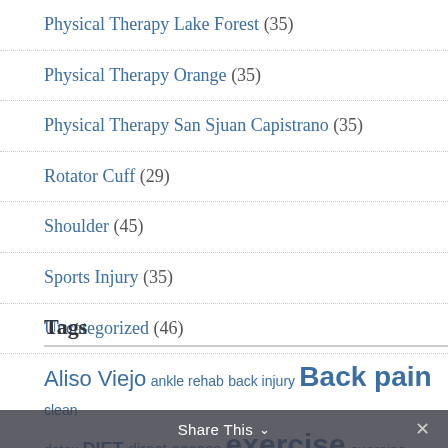Physical Therapy Lake Forest (35)
Physical Therapy Orange (35)
Physical Therapy San Sjuan Capistrano (35)
Rotator Cuff (29)
Shoulder (45)
Sports Injury (35)
Uncategorized (46)
Tags
Aliso Viejo  ankle rehab  back injury  Back pain  clean  detox  DIET  direct access  exercise  exercise your right to feel better  feel better  Foothill Ranch